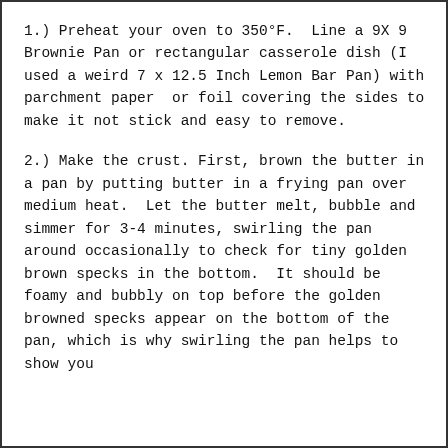1.) Preheat your oven to 350°F.  Line a 9X 9 Brownie Pan or rectangular casserole dish (I used a weird 7 x 12.5 Inch Lemon Bar Pan) with parchment paper  or foil covering the sides to make it not stick and easy to remove.
2.) Make the crust. First, brown the butter in a pan by putting butter in a frying pan over medium heat.  Let the butter melt, bubble and simmer for 3-4 minutes, swirling the pan around occasionally to check for tiny golden brown specks in the bottom.  It should be foamy and bubbly on top before the golden browned specks appear on the bottom of the pan, which is why swirling the pan helps to show you